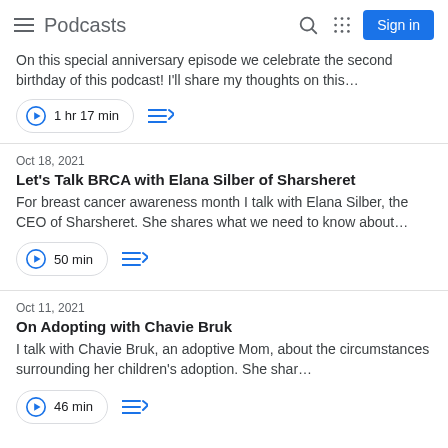Podcasts
On this special anniversary episode we celebrate the second birthday of this podcast! I'll share my thoughts on this…
1 hr 17 min
Oct 18, 2021
Let's Talk BRCA with Elana Silber of Sharsheret
For breast cancer awareness month I talk with Elana Silber, the CEO of Sharsheret. She shares what we need to know about…
50 min
Oct 11, 2021
On Adopting with Chavie Bruk
I talk with Chavie Bruk, an adoptive Mom, about the circumstances surrounding her children's adoption. She shar…
46 min